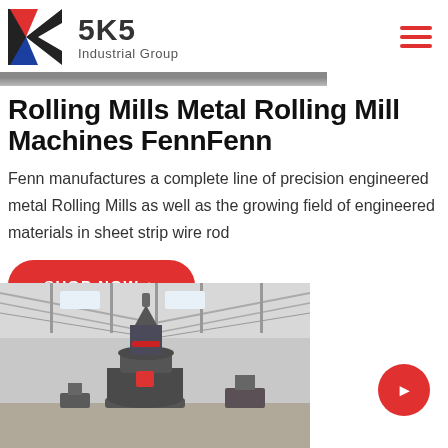SKS Industrial Group
[Figure (photo): Partial header image strip showing industrial scene at top]
Rolling Mills Metal Rolling Mill Machines FennFenn
Fenn manufactures a complete line of precision engineered metal Rolling Mills as well as the growing field of engineered materials in sheet strip wire rod
[Figure (other): Red SHOP NOW button with arrow]
[Figure (photo): Industrial factory floor with large grey cylindrical milling machine inside a workshop with steel roof structure]
[Figure (other): Red circular FAB button with arrow in bottom right corner]